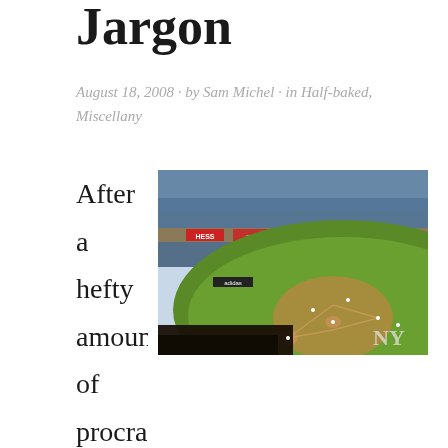Jargon
August 18, 2008 · by Sam Michel · in Half-baked, Miscellany
[Figure (photo): Aerial view of a baseball stadium (appears to be Yankee Stadium) showing the field, stands, and advertising boards including HESS, Coca-Cola, and UTZ brands.]
After a hefty amount of procrastination this Sunday, who knew washing up could be such an engaging pastime, I got down to some heavy-